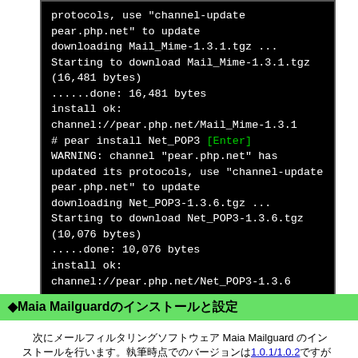[Figure (screenshot): Terminal/console output showing PEAR package installation for Mail_Mime and Net_POP3, including warnings about channel updates, download progress, and install confirmations.]
◆Maia Mailguardのインストールと設定
次にメールフィルタリングソフトウェア Maia Mailguard のインストールを行います。執筆時点でのバージョンは1.0.1/1.0.2ですが1.0.1版(以下